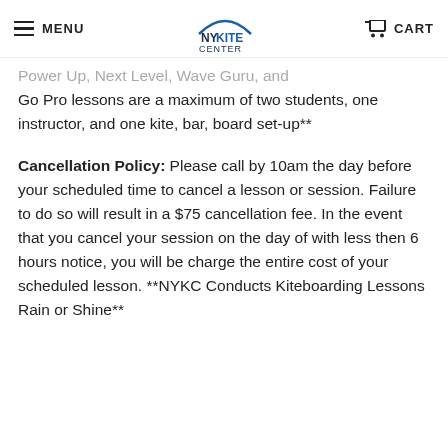MENU | NY KITE CENTER | CART
Power Up, Next Level, Wave Guru, and Go Pro lessons are a maximum of two students, one instructor, and one kite, bar, board set-up**
Cancellation Policy: Please call by 10am the day before your scheduled time to cancel a lesson or session. Failure to do so will result in a $75 cancellation fee. In the event that you cancel your session on the day of with less then 6 hours notice, you will be charge the entire cost of your scheduled lesson. **NYKC Conducts Kiteboarding Lessons Rain or Shine**